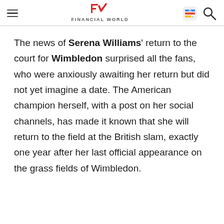Financial World
The news of Serena Williams' return to the court for Wimbledon surprised all the fans, who were anxiously awaiting her return but did not yet imagine a date. The American champion herself, with a post on her social channels, has made it known that she will return to the field at the British slam, exactly one year after her last official appearance on the grass fields of Wimbledon.